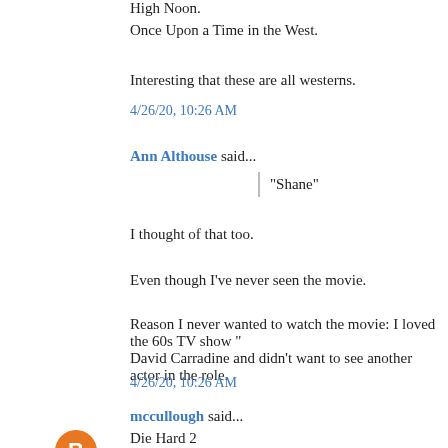High Noon.
Once Upon a Time in the West.
Interesting that these are all westerns.
4/26/20, 10:26 AM
Ann Althouse said...
"Shane"
I thought of that too.
Even though I've never seen the movie.
Reason I never wanted to watch the movie: I loved the 60s TV show " David Carradine and didn't want to see another actor in the role.
4/26/20, 10:26 AM
mccullough said...
Die Hard 2